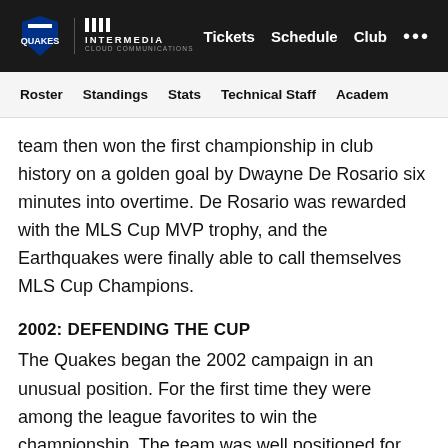Quakes | Intermedia Cloud Communications | Tickets | Schedule | Club | ...
Roster | Standings | Stats | Technical Staff | Academy
team then won the first championship in club history on a golden goal by Dwayne De Rosario six minutes into overtime. De Rosario was rewarded with the MLS Cup MVP trophy, and the Earthquakes were finally able to call themselves MLS Cup Champions.
2002: DEFENDING THE CUP
The Quakes began the 2002 campaign in an unusual position. For the first time they were among the league favorites to win the championship. The team was well positioned for another run at the title, as MLS Defender of the Year Jeff Agoos and star forward Landon